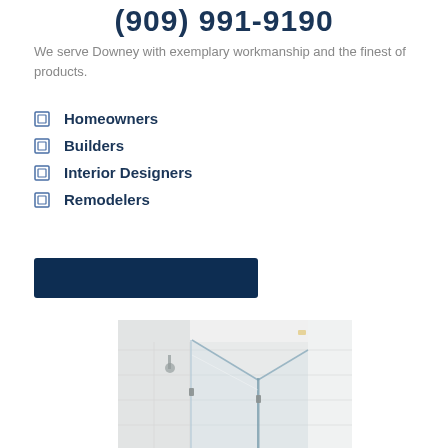(909) 991-9190
We serve Downey with exemplary workmanship and the finest of products.
Homeowners
Builders
Interior Designers
Remodelers
[Figure (photo): Dark navy blue call-to-action button]
[Figure (photo): Photo of a glass shower enclosure with frameless panels, white tile walls, and a shower head visible]